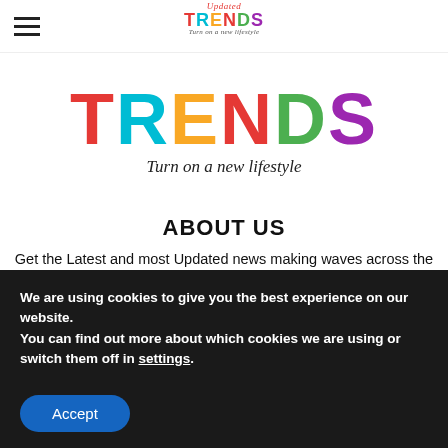Updated TRENDS – Turn on a new lifestyle (navigation bar with hamburger menu and small logo)
[Figure (logo): Updated TRENDS logo in large colorful text with tagline 'Turn on a new lifestyle']
ABOUT US
Get the Latest and most Updated news making waves across the World. Updatedtrends.Com is a website to keep you up-to date with the latest happenings in lifestyle and fashion across the globe.
We are using cookies to give you the best experience on our website.
You can find out more about which cookies we are using or switch them off in settings.
Accept